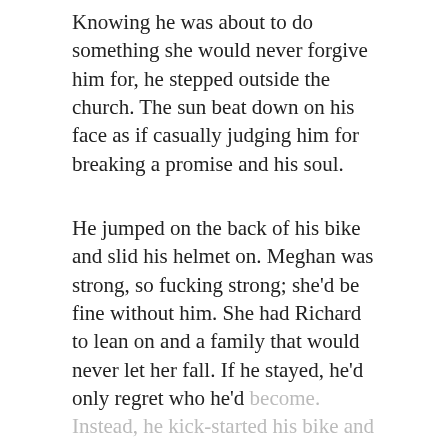Knowing he was about to do something she would never forgive him for, he stepped outside the church. The sun beat down on his face as if casually judging him for breaking a promise and his soul.
He jumped on the back of his bike and slid his helmet on. Meghan was strong, so fucking strong; she'd be fine without him. She had Richard to lean on and a family that would never let her fall. If he stayed, he'd only regret who he'd become. Instead, he kick-started his bike and...
We use cookies on our website to give you the most relevant experience by remembering your preferences and repeat visits. By clicking "Accept", you consent to the use of ALL the cookies. However you may visit Cookie Settings to provide a controlled consent.
Cookie settings
ACCEPT
Present Day
There had to be a better way to deal with files and estimates other than...